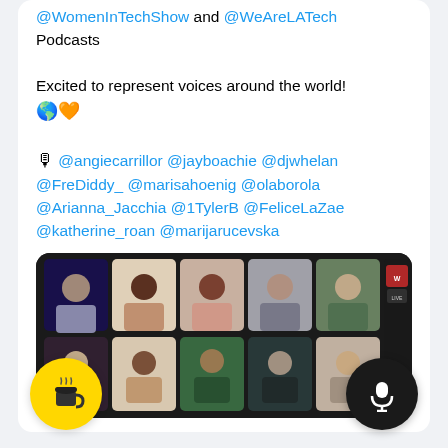@WomenInTechShow and @WeAreLATech Podcasts

Excited to represent voices around the world! 🌎🧡

🎙 @angiecarrillor @jayboachie @djwhelan @FreDiddy_ @marisahoenig @olaborola @Arianna_Jacchia @1TylerB @FeliceLaZae @katherine_roan @marijarucevska
[Figure (screenshot): Screenshot of a video call with multiple participants visible in a grid layout, dark background with a sidebar overlay on the right showing a logo and microphone icon.]